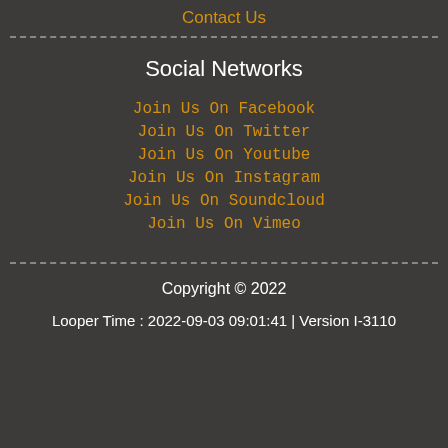Contact Us
Social Networks
Join Us On Facebook
Join Us On Twitter
Join Us On Youtube
Join Us On Instagram
Join Us On Soundcloud
Join Us On Vimeo
Copyright © 2022
Looper Time : 2022-09-03 09:01:41 | Version I-3110